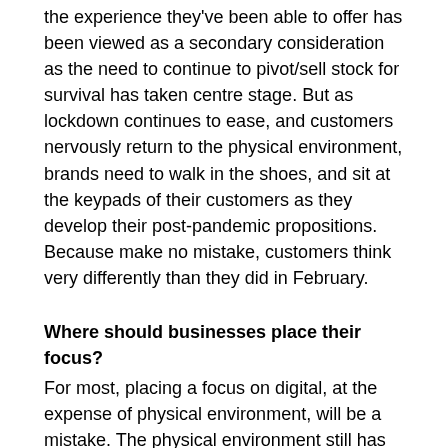the experience they've been able to offer has been viewed as a secondary consideration as the need to continue to pivot/sell stock for survival has taken centre stage. But as lockdown continues to ease, and customers nervously return to the physical environment, brands need to walk in the shoes, and sit at the keypads of their customers as they develop their post-pandemic propositions. Because make no mistake, customers think very differently than they did in February.
Where should businesses place their focus?
For most, placing a focus on digital, at the expense of physical environment, will be a mistake. The physical environment still has an important role to play in determining the success of a brand, initially in terms of satisfying the (more desperate than ever) human need to interact, but increasingly as a vehicle to build online sales growth. After months of isolation, and once confidence levels start to increase, customers will positively look forward to being part